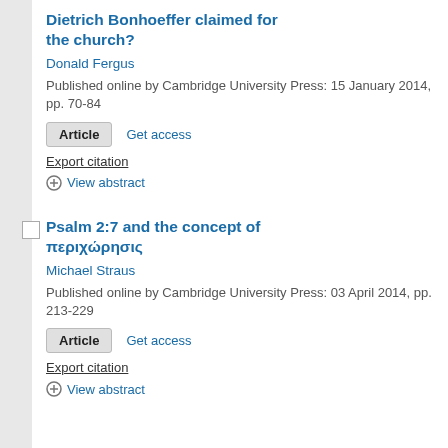Dietrich Bonhoeffer claimed for the church?
Donald Fergus
Published online by Cambridge University Press: 15 January 2014, pp. 70-84
Article   Get access
Export citation
View abstract
Psalm 2:7 and the concept of περιχώρησις
Michael Straus
Published online by Cambridge University Press: 03 April 2014, pp. 213-229
Article   Get access
Export citation
View abstract